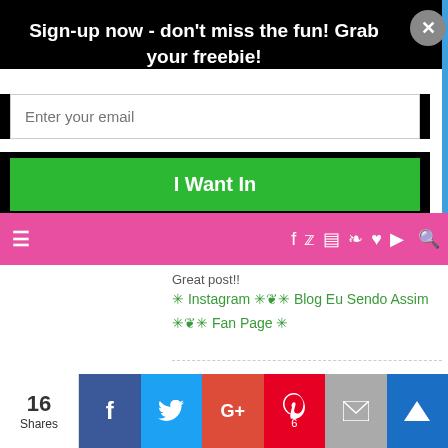Sign-up now - don't miss the fun! Grab your freebie!
Enter your email
I Want In
[Figure (screenshot): Pink navigation bar with hamburger menu and social media icons (Facebook, Twitter, Instagram, Pinterest, heart, YouTube, search)]
Great post!!
✳ Instagram ✳❦✳ Blog Eu Sendo Assim ✳❦✳ Fan Page ✳
YIOTOU_LA
September 2, 2016 at 6:57 am
Reply
16 Shares